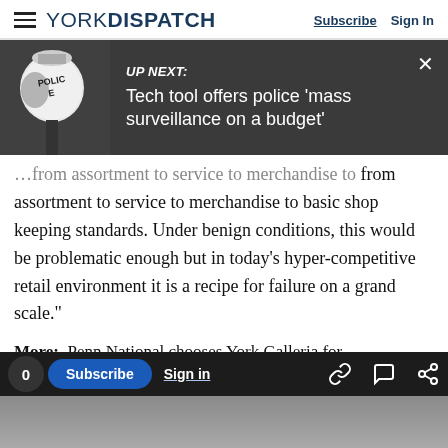YORK DISPATCH  Subscribe  Sign In
[Figure (screenshot): UP NEXT banner with police lamp image. Text reads: UP NEXT: Tech tool offers police 'mass surveillance on a budget']
...from assortment to service to merchandise to basic shop keeping standards. Under benign conditions, this would be problematic enough but in today's hyper-competitive retail environment it is a recipe for failure on a grand scale."
More:  Penn National chooses York Galleria for 'mini-casino'
More:  Sears at the York Galleria to close in August
0  Subscribe  Sign in  [link icon] [comment icon] [share icon]